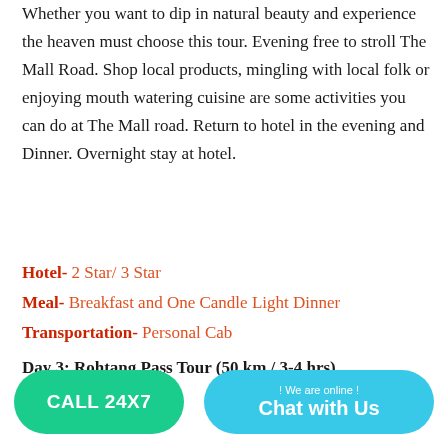Whether you want to dip in natural beauty and experience the heaven must choose this tour. Evening free to stroll The Mall Road. Shop local products, mingling with local folk or enjoying mouth watering cuisine are some activities you can do at The Mall road. Return to hotel in the evening and Dinner. Overnight stay at hotel.
Hotel- 2 Star/ 3 Star
Meal- Breakfast and One Candle Light Dinner
Transportation- Personal Cab
Day 3: Rohtang Pass Tour (50 km / 3-4 hrs)
...proceed for... km / 3-4...